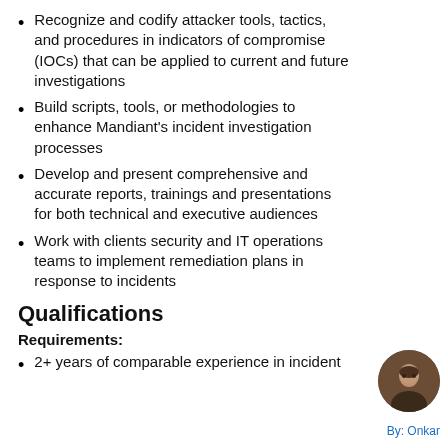Recognize and codify attacker tools, tactics, and procedures in indicators of compromise (IOCs) that can be applied to current and future investigations
Build scripts, tools, or methodologies to enhance Mandiant's incident investigation processes
Develop and present comprehensive and accurate reports, trainings and presentations for both technical and executive audiences
Work with clients security and IT operations teams to implement remediation plans in response to incidents
Qualifications
Requirements:
2+ years of comparable experience in incident...